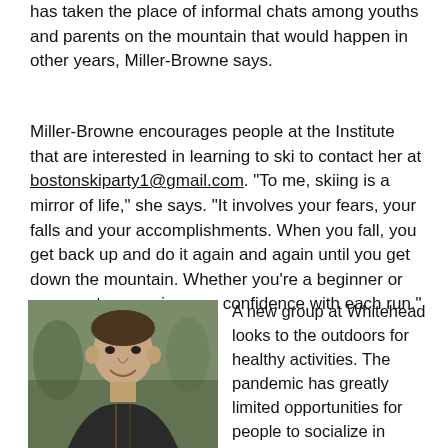has taken the place of informal chats among youths and parents on the mountain that would happen in other years, Miller-Browne says.
Miller-Browne encourages people at the Institute that are interested in learning to ski to contact her at bostonskiparty1@gmail.com. "To me, skiing is a mirror of life," she says. "It involves your fears, your falls and your accomplishments. When you fall, you get back up and do it again and again until you get down the mountain. Whether you're a beginner or an expert, you gain more confidence with each run."
[Figure (photo): A man smiling outdoors, photographed in front of a blurred crowd background.]
A new group at Whitehead looks to the outdoors for healthy activities. The pandemic has greatly limited opportunities for people to socialize in person safely.